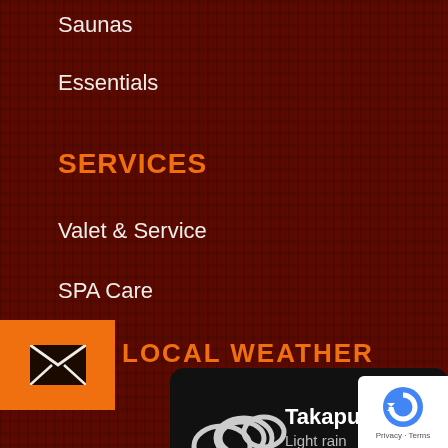Saunas
Essentials
SERVICES
Valet & Service
SPA Care
LOCAL WEATHER
[Figure (infographic): Weather widget showing Takapuna, 17 degrees, Light rain, with cloud/rain icon, and forecast for FRI, SAT, SUN each with cloud icons]
[Figure (logo): Google reCAPTCHA badge with Privacy and Terms links]